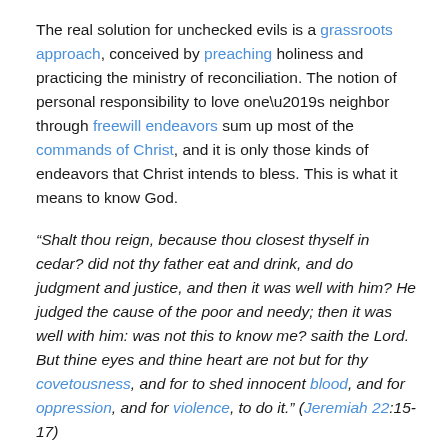The real solution for unchecked evils is a grassroots approach, conceived by preaching holiness and practicing the ministry of reconciliation. The notion of personal responsibility to love one’s neighbor through freewill endeavors sum up most of the commands of Christ, and it is only those kinds of endeavors that Christ intends to bless. This is what it means to know God.
“Shalt thou reign, because thou closest thyself in cedar? did not thy father eat and drink, and do judgment and justice, and then it was well with him? He judged the cause of the poor and needy; then it was well with him: was not this to know me? saith the Lord. But thine eyes and thine heart are not but for thy covetousness, and for to shed innocent blood, and for oppression, and for violence, to do it.” (Jeremiah 22:15-17)